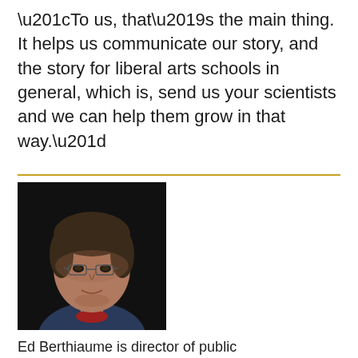“To us, that’s the main thing. It helps us communicate our story, and the story for liberal arts schools in general, which is, send us your scientists and we can help them grow in that way.”
[Figure (photo): Headshot of Ed Berthiaume, a middle-aged man with glasses, dark hair, wearing a dark blue polo shirt, against a black background]
Ed Berthiaume is director of public